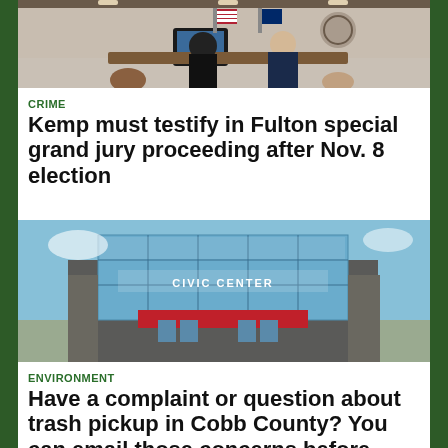[Figure (photo): Courtroom scene with people at a bench, American flag visible, person in suit with back turned]
CRIME
Kemp must testify in Fulton special grand jury proceeding after Nov. 8 election
[Figure (photo): Exterior of a civic or government center building with large glass windows and a red awning entrance]
ENVIRONMENT
Have a complaint or question about trash pickup in Cobb County? You can email those concerns before Wednesday's trash